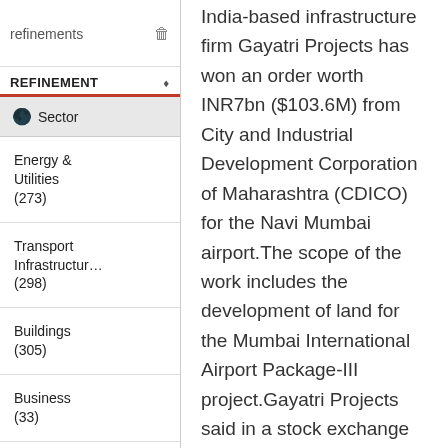refinements
REFINEMENT
Sector
Energy & Utilities (273)
Transport Infrastructure (298)
Buildings (305)
Business (33)
Equipment
India-based infrastructure firm Gayatri Projects has won an order worth INR7bn ($103.6M) from City and Industrial Development Corporation of Maharashtra (CDICO) for the Navi Mumbai airport.The scope of the work includes the development of land for the Mumbai International Airport Package-III project.Gayatri Projects said in a stock exchange filing: "The construction and development of airports will prove to be a major source of business for infrastructure companies, given that the Indian aviation sector is likely to see investments of over $120bn for the development of airport infrastructure and aviation navigation services over the next decade."According to the company, the project is in line with the management's decision to follow an asset-light model and will for the